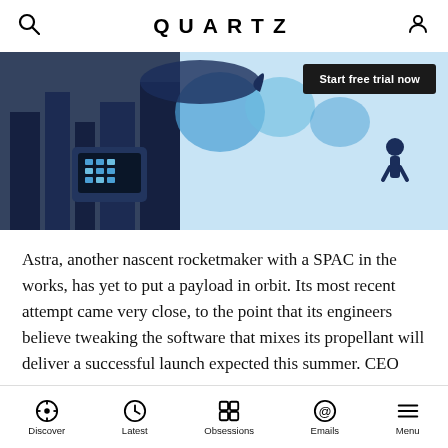QUARTZ
[Figure (illustration): Quartz promotional banner with blue illustrated cityscape and characters, dark button reading 'Start free trial now']
Astra, another nascent rocketmaker with a SPAC in the works, has yet to put a payload in orbit. Its most recent attempt came very close, to the point that its engineers believe tweaking the software that mixes its propellant will deliver a successful launch expected this summer. CEO Chris Kemp, a former NASA CTO and enterprise software developer, just poached Benjamin Lyon, a senior Apple engineer, to lead its technology development. Its first vehicle to market retails at less than $4 million, and the company says it has sold 50 launches, but hasn't disclosed how many deposits it has
Discover  Latest  Obsessions  Emails  Menu